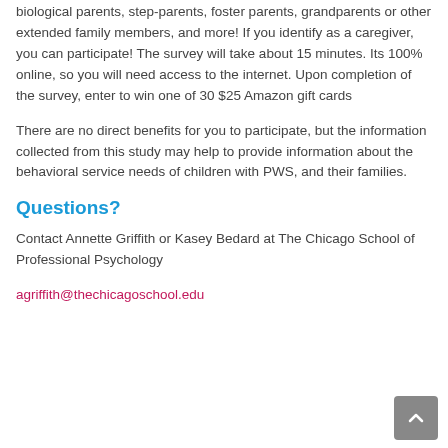biological parents, step-parents, foster parents, grandparents or other extended family members, and more! If you identify as a caregiver, you can participate! The survey will take about 15 minutes. Its 100% online, so you will need access to the internet. Upon completion of the survey, enter to win one of 30 $25 Amazon gift cards
There are no direct benefits for you to participate, but the information collected from this study may help to provide information about the behavioral service needs of children with PWS, and their families.
Questions?
Contact Annette Griffith or Kasey Bedard at The Chicago School of Professional Psychology
agriffith@thechicagoschool.edu